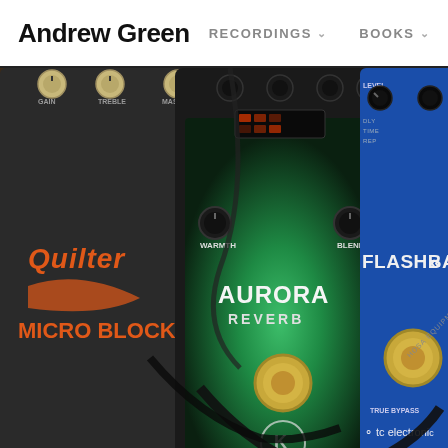Andrew Green   RECORDINGS   BOOKS
[Figure (photo): Close-up photo of guitar effects pedals on a pedalboard: a Quilter Micro Block amplifier, an Aurora Reverb pedal by Keeley Electronics (green/black finish), and a TC Electronic Flashback delay pedal (blue). Below are rack-mounted units with multiple knobs. Various patch cables connect the pedals.]